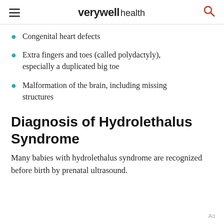verywell health
Congenital heart defects
Extra fingers and toes (called polydactyly), especially a duplicated big toe
Malformation of the brain, including missing structures
Diagnosis of Hydrolethalus Syndrome
Many babies with hydrolethalus syndrome are recognized before birth by prenatal ultrasound.